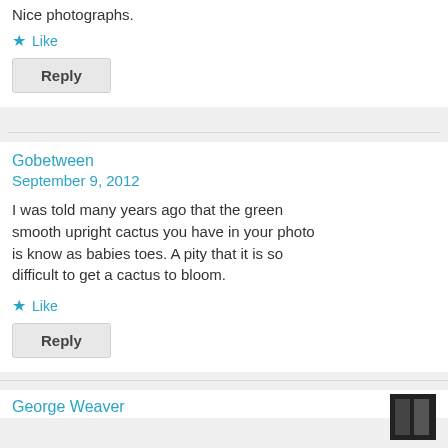Nice photographs.
Like
Reply
Gobetween
September 9, 2012
[Figure (photo): Fire spinning photograph showing glowing light trails against dark background]
I was told many years ago that the green smooth upright cactus you have in your photo is know as babies toes. A pity that it is so difficult to get a cactus to bloom.
Like
Reply
George Weaver